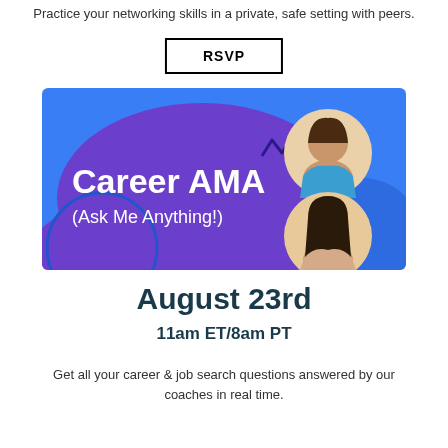Practice your networking skills in a private, safe setting with peers.
RSVP
[Figure (illustration): Career AMA (Ask Me Anything!) promotional banner with purple and blue background, crown/lightning bolt icon, and two circular headshot photos of women coaches on the right side.]
August 23rd
11am ET/8am PT
Get all your career & job search questions answered by our coaches in real time.